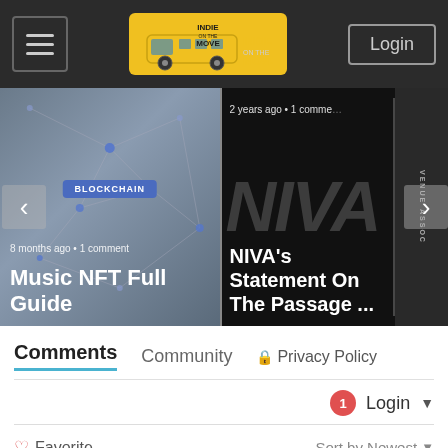Indie on the Move — Login
[Figure (screenshot): Carousel with two article cards: left card shows blockchain network graphic with badge 'BLOCKCHAIN' and title 'Music NFT Full Guide' (8 months ago • 1 comment); right card shows NIVA black background with title 'NIVA's Statement On The Passage …' (2 years ago • 1 comment). Left arrow and right arrow navigation controls visible.]
Comments
Community
🔒 Privacy Policy
1 Login ▾
♡ Favorite
Sort by Newest ▾
Join the discussion…
LOG IN WITH